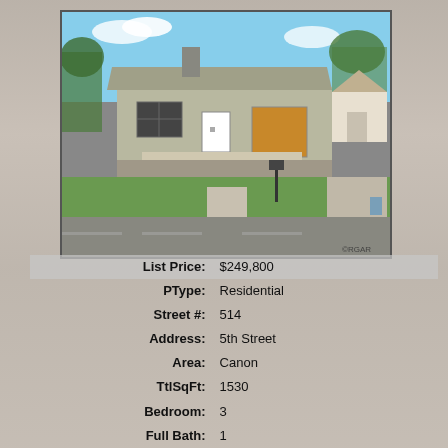[Figure (photo): Exterior photo of a single-story residential house with gray siding, a chimney, white door, boarded garage door, and green lawn in front. Street view with trees in background. CRGAR watermark visible.]
| List Price: | $249,800 |
| PType: | Residential |
| Street #: | 514 |
| Address: | 5th Street |
| Area: | Canon |
| TtlSqFt: | 1530 |
| Bedroom: | 3 |
| Full Bath: | 1 |